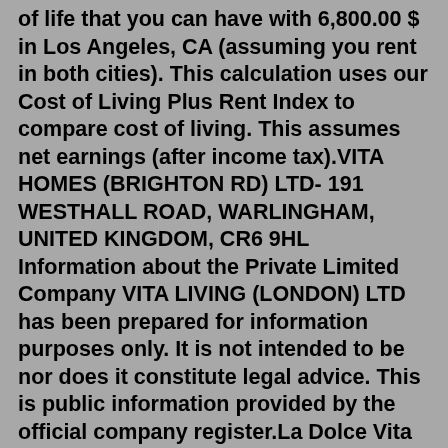of life that you can have with 6,800.00 $ in Los Angeles, CA (assuming you rent in both cities). This calculation uses our Cost of Living Plus Rent Index to compare cost of living. This assumes net earnings (after income tax).VITA HOMES (BRIGHTON RD) LTD- 191 WESTHALL ROAD, WARLINGHAM, UNITED KINGDOM, CR6 9HL Information about the Private Limited Company VITA LIVING (LONDON) LTD has been prepared for information purposes only. It is not intended to be nor does it constitute legal advice. This is public information provided by the official company register.La Dolce Vita (Italian pronunciation: [la ˈdoltʃe ˈviːta]; Italian for "the sweet life" or "the good life") is a 1960 satirical comedy-drama film directed and co-written (with Ennio Flaiano, Tullio Pinelli and Brunello Rondi) by Federico Fellini. Summary about cost of living in London, Canada: Family of four estimated monthly costs are (4,274.84C$) without rent (using our estimator). A single person estimated monthly costs are 910.02$ (1,186.44C$) without rent. London